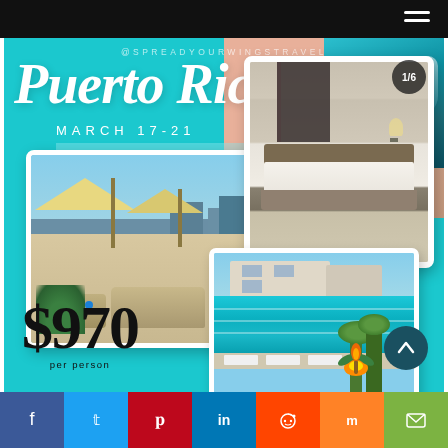[Figure (infographic): Travel promotion screenshot for Puerto Rico trip March 17-21 at $970 per person, with hotel room photo, rooftop pool photo, and building/pool photo on teal background. Social share bar at bottom with Facebook, Twitter, Pinterest, LinkedIn, Reddit, Mix, and email icons.]
@SPREADYOURWINGSTRAVEL
Puerto Rico
MARCH 17-21
$970 per person
1/6